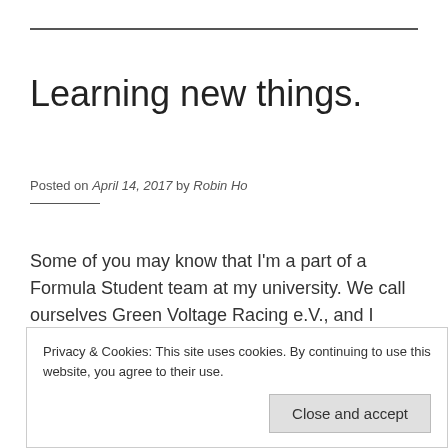Learning new things.
Posted on April 14, 2017 by Robin Ho
Some of you may know that I'm a part of a Formula Student team at my university. We call ourselves Green Voltage Racing e.V., and I invite you to check
Privacy & Cookies: This site uses cookies. By continuing to use this website, you agree to their use.
To find out more, including how to control cookies, see here: Cookie Policy
Close and accept